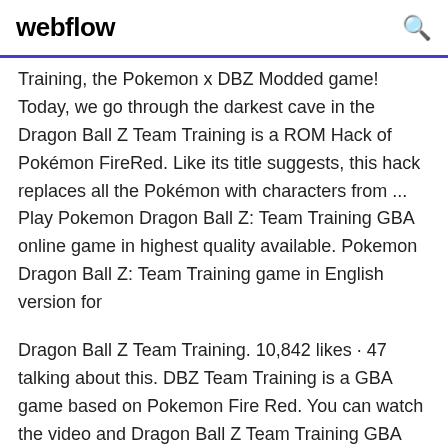webflow
Training, the Pokemon x DBZ Modded game! Today, we go through the darkest cave in the Dragon Ball Z Team Training is a ROM Hack of Pokémon FireRed. Like its title suggests, this hack replaces all the Pokémon with characters from ... Play Pokemon Dragon Ball Z: Team Training GBA online game in highest quality available. Pokemon Dragon Ball Z: Team Training game in English version for
Dragon Ball Z Team Training. 10,842 likes · 47 talking about this. DBZ Team Training is a GBA game based on Pokemon Fire Red. You can watch the video and Dragon Ball Z Team Training GBA ROM Download Download Here.